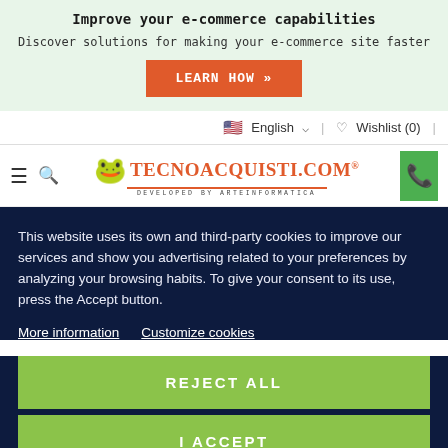Improve your e-commerce capabilities
Discover solutions for making your e-commerce site faster
LEARN HOW »
English   Wishlist (0)
[Figure (logo): Tecnoacquisti.com logo with frog icon, orange text, and 'Developed by ArteInformatica' subtitle]
This website uses its own and third-party cookies to improve our services and show you advertising related to your preferences by analyzing your browsing habits. To give your consent to its use, press the Accept button.
More information   Customize cookies
REJECT ALL
I ACCEPT